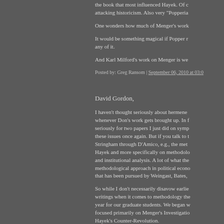the book that most influenced Hayek. Of course it is attacking historicism. Also very "Popperia...
One wonders how much of Menger's work...
It would be something magical if Popper r... any of it.
And Karl Milford's work on Menger is we...
Posted by: Greg Ransom | September 06, 2010 at 03:0...
David Gordon,
I haven't thought seriously about hermene... whenever Don's work gets brought up. In ... seriously for two papers I just did on symp... these issues once again. But if you talk to ... Stringham through D'Amico, e.g., the met... Hayek and more specifically on methodolo... and institutional analysis. A lot of what the... methodological approach in political econo... that has been pursued by Weingast, Bates,...
So while I don't necessarily disavow earlie... writings when it comes to methodology the... year for our graduate students. We began w... focused primarily on Menger's Investigatio... Hayek's Counter-Revolution.